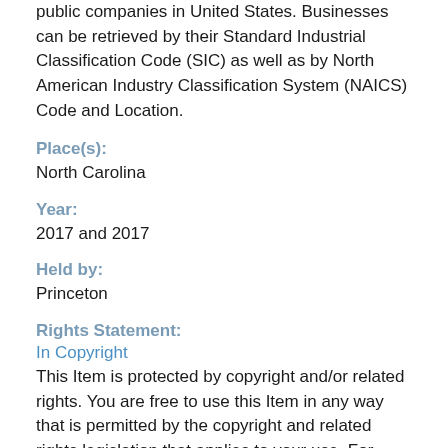public companies in United States. Businesses can be retrieved by their Standard Industrial Classification Code (SIC) as well as by North American Industry Classification System (NAICS) Code and Location.
Place(s):
North Carolina
Year:
2017 and 2017
Held by:
Princeton
Rights Statement:
In Copyright
This Item is protected by copyright and/or related rights. You are free to use this Item in any way that is permitted by the copyright and related rights legislation that applies to your use. For other uses you need to obtain permission from the rights-holder(s).
Princeton University Library claims no copyright or license governing this digital resource. It is provided for free, on a non-commercial, open-access basis, for fair-use academic and